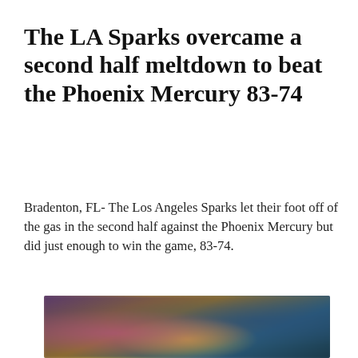The LA Sparks overcame a second half meltdown to beat the Phoenix Mercury 83-74
Bradenton, FL- The Los Angeles Sparks let their foot off of the gas in the second half against the Phoenix Mercury but did just enough to win the game, 83-74.
[Figure (photo): Blurred photo of basketball players, appears to show LA Sparks players in yellow uniforms]